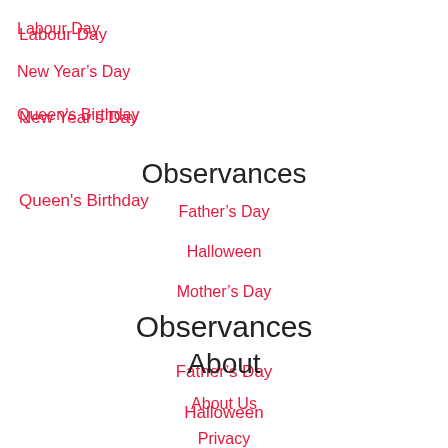Labour Day
New Year's Day
Queen's Birthday
Observances
Father's Day
Halloween
Mother's Day
About
About Us
Privacy